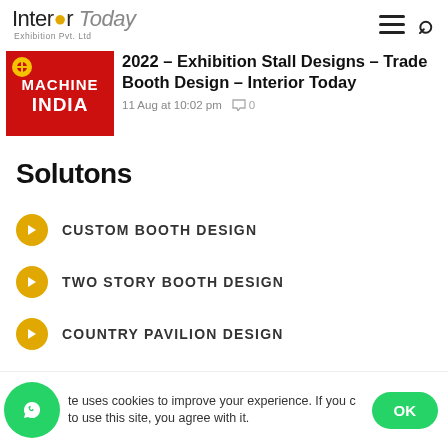Interior Today Exhibition Pvt. Ltd
[Figure (logo): Machine India red logo thumbnail with white text]
2022 – Exhibition Stall Designs – Trade Booth Design – Interior Today
11 Aug at 10:02 pm   0
Solutons
CUSTOM BOOTH DESIGN
TWO STORY BOOTH DESIGN
COUNTRY PAVILION DESIGN
te uses cookies to improve your experience. If you c to use this site, you agree with it.